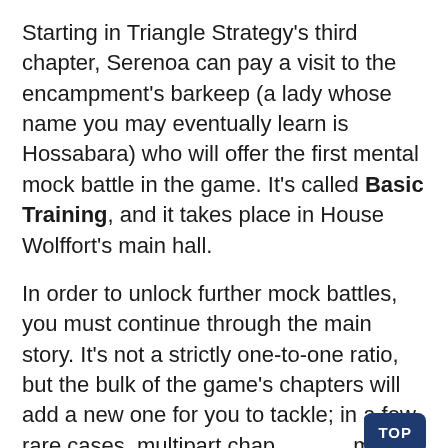Starting in Triangle Strategy's third chapter, Serenoa can pay a visit to the encampment's barkeep (a lady whose name you may eventually learn is Hossabara) who will offer the first mental mock battle in the game. It's called Basic Training, and it takes place in House Wolffort's main hall.
In order to unlock further mock battles, you must continue through the main story. It's not a strictly one-to-one ratio, but the bulk of the game's chapters will add a new one for you to tackle; in a few rare cases, multipart chapters may add a total of two by the time they've ended.